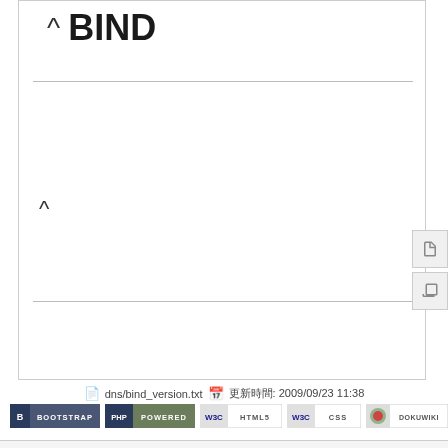^ BIND
dns/bind_version.txt  更新時間: 2009/09/23 11:38
[Figure (screenshot): Row of technology badges: BOOTSTRAP, PHP POWERED, W3C HTML5, W3C CSS, DOKUWIKI]
Copyright (c) 2017 National Tsing Hua University ALL RIGHTS RESERVED
30603